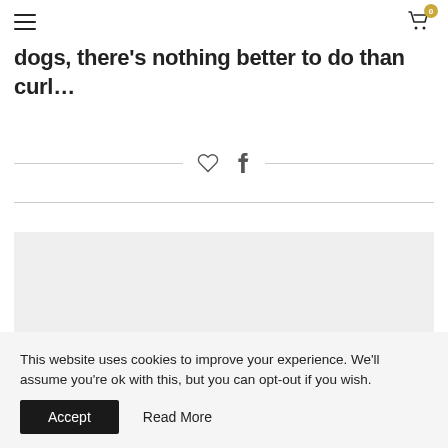Navigation header with hamburger menu and cart icon (badge: 0)
dogs, there's nothing better to do than curl...
[Figure (other): Social sharing icons: heart (like) and Facebook share, between two horizontal divider lines]
[Figure (photo): Light grey image placeholder rectangle]
This website uses cookies to improve your experience. We'll assume you're ok with this, but you can opt-out if you wish.